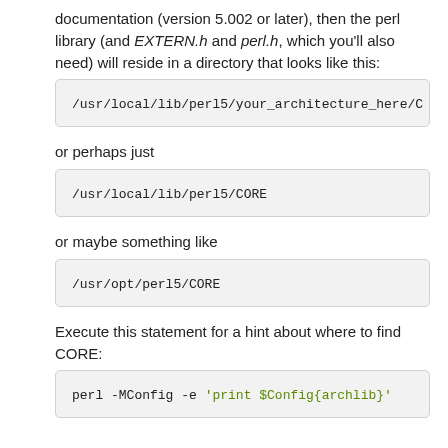documentation (version 5.002 or later), then the perl library (and EXTERN.h and perl.h, which you'll also need) will reside in a directory that looks like this:
/usr/local/lib/perl5/your_architecture_here/0
or perhaps just
/usr/local/lib/perl5/CORE
or maybe something like
/usr/opt/perl5/CORE
Execute this statement for a hint about where to find CORE:
perl -MConfig -e 'print $Config{archlib}'